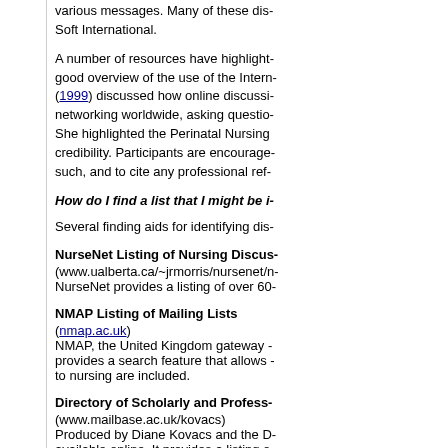various messages. Many of these dis- Soft International.
A number of resources have highlight- good overview of the use of the Intern- (1999) discussed how online discussi- networking worldwide, asking questio- She highlighted the Perinatal Nursing credibility. Participants are encourage- such, and to cite any professional ref-
How do I find a list that I might be i-
Several finding aids for identifying dis-
NurseNet Listing of Nursing Discus- (www.ualberta.ca/~jrmorris/nursenet/n- NurseNet provides a listing of over 60-
NMAP Listing of Mailing Lists (nmap.ac.uk) NMAP, the United Kingdom gateway - provides a search feature that allows - to nursing are included.
Directory of Scholarly and Profess- (www.mailbase.ac.uk/kovacs) Produced by Diane Kovacs and the D- available online. It provides a listing o-